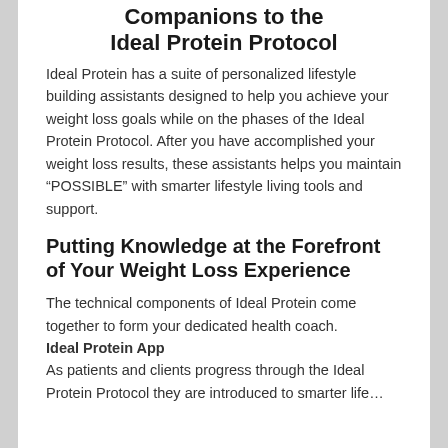Companions to the Ideal Protein Protocol
Ideal Protein has a suite of personalized lifestyle building assistants designed to help you achieve your weight loss goals while on the phases of the Ideal Protein Protocol. After you have accomplished your weight loss results, these assistants helps you maintain “POSSIBLE” with smarter lifestyle living tools and support.
Putting Knowledge at the Forefront of Your Weight Loss Experience
The technical components of Ideal Protein come together to form your dedicated health coach. Ideal Protein App As patients and clients progress through the Ideal Protein Protocol they are introduced to smarter lifestyle habits and smarter health matters and the